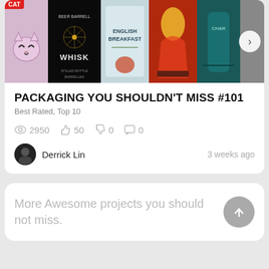[Figure (screenshot): A horizontal strip of product packaging images: a pink cat-themed bottle with red CAT label, a dark whisky bottle labeled BEER BARRELL WHISK, an English Breakfast tea tin, a colorful illustrated art bottle, and a teal/dark bottle. A right-arrow navigation button overlays the right side.]
PACKAGING YOU SHOULDN'T MISS #101
Best Rated, Top 10
2950  50  0  0
Derrick Lin   3 weeks ago
More Awesome projects you should not miss.